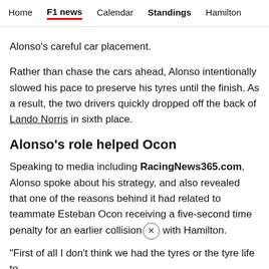Home | F1 news | Calendar | Standings | Hamilton
Alonso's careful car placement.
Rather than chase the cars ahead, Alonso intentionally slowed his pace to preserve his tyres until the finish. As a result, the two drivers quickly dropped off the back of Lando Norris in sixth place.
Alonso's role helped Ocon
Speaking to media including RacingNews365.com, Alonso spoke about his strategy, and also revealed that one of the reasons behind it had related to teammate Esteban Ocon receiving a five-second time penalty for an earlier collision with Hamilton.
"First of all I don't think we had the tyres or the tyre life to